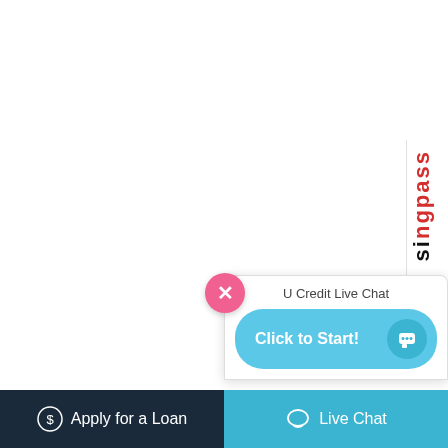when this happens. Just make sure it is for repair and not for an upgrade. That’s going to be a different story.
Unplanned Pregnancy
Welcoming a new member of your family is great. But when it happens when you’re not expecting it, you will need to have a fund to use for laboratories and checkups that aren’t yet part of your monthly expenses yet. And until you’re able to adjust your budget, at least you have spare money to use.
Family Emergencies
Well, your emergency fund isn’t just for you but for your family too. Therefore, in case someone from your family needed one of the four real-life situations mentioned, then they have money to use too.
Conclusion
[Figure (screenshot): Live chat popup widget with close button (pink X), 'U Credit Live Chat' title, and 'Click to Start!' button in light blue with chat icon]
Apply for a Loan   Live Chat